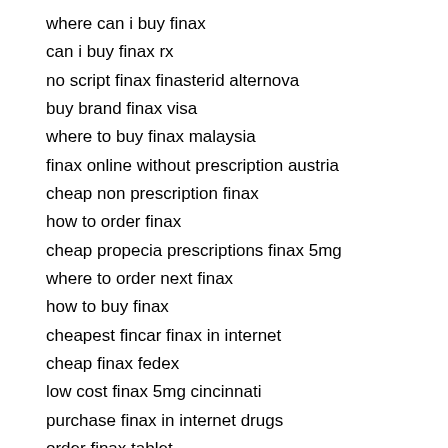where can i buy finax
can i buy finax rx
no script finax finasterid alternova
buy brand finax visa
where to buy finax malaysia
finax online without prescription austria
cheap non prescription finax
how to order finax
cheap propecia prescriptions finax 5mg
where to order next finax
how to buy finax
cheapest fincar finax in internet
cheap finax fedex
low cost finax 5mg cincinnati
purchase finax in internet drugs
order finax tablet
want to purchase finax